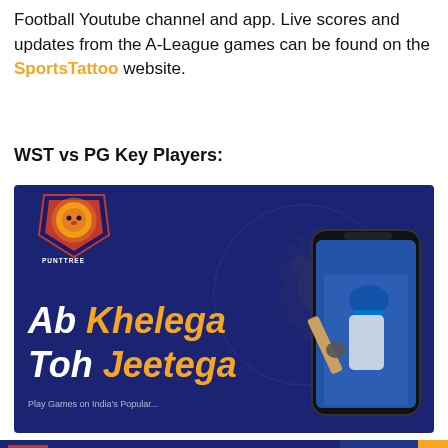Football Youtube channel and app. Live scores and updates from the A-League games can be found on the SportsTattoo website.
WST vs PG Key Players:
[Figure (illustration): Punttree advertisement banner with dark navy blue background, lion logo, text 'Ab Khelega Toh Jeetega' in white and orange italic bold fonts, a smartphone mockup with a cricket player image on the right, and faint watermark lion graphic.]
[Figure (illustration): Punttree bottom advertisement strip with lion logo, 'Ab Khelega Toh Jeetega' text, QR code, 'SCAN QR or VISIT t.me/PunttreeBot' text, cricket player image, and orange X close button.]